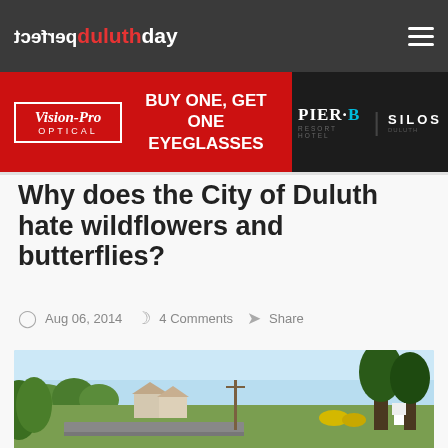perfect duluthday
[Figure (other): Vision-Pro Optical advertisement: BUY ONE, GET ONE EYEGLASSES on red background; Pier B Resort Hotel | Silos on dark background]
Why does the City of Duluth hate wildflowers and butterflies?
Aug 06, 2014  4 Comments  Share
[Figure (photo): Outdoor photo of a Duluth neighborhood street with wildflowers, trees, and houses under a blue sky]